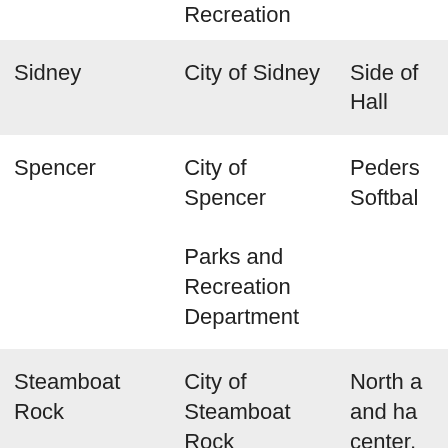| City | Organization | Location/Facility |
| --- | --- | --- |
|  | Recreation |  |
| Sidney | City of Sidney | Side of Hall |
| Spencer | City of Spencer Parks and Recreation Department | Pedersen Softball |
| Steamboat Rock | City of Steamboat Rock | North and ha center, new m |
| Storm Lake | Buena Vista County Historical | Country |